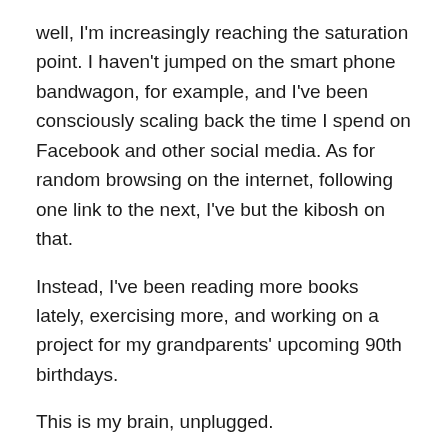well, I'm increasingly reaching the saturation point.  I haven't jumped on the smart phone bandwagon, for example, and I've been consciously scaling back the time I spend on Facebook and other social media.  As for random browsing on the internet, following one link to the next, I've but the kibosh on that.
Instead, I've been reading more books lately, exercising more, and working on a project for my grandparents' upcoming 90th birthdays.
This is my brain, unplugged.
What about you?  How do you feel about your use of technology?  Too much?  Not enough?  Just about right?